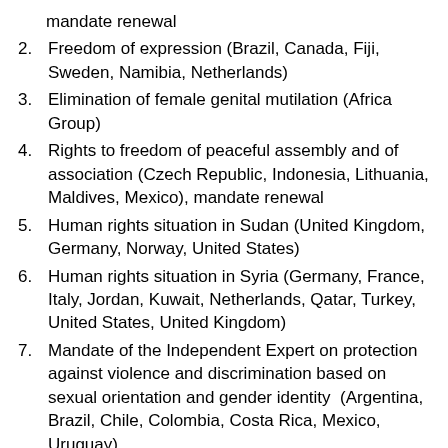mandate renewal
2. Freedom of expression (Brazil, Canada, Fiji, Sweden, Namibia, Netherlands)
3. Elimination of female genital mutilation (Africa Group)
4. Rights to freedom of peaceful assembly and of association (Czech Republic, Indonesia, Lithuania, Maldives, Mexico), mandate renewal
5. Human rights situation in Sudan (United Kingdom, Germany, Norway, United States)
6. Human rights situation in Syria (Germany, France, Italy, Jordan, Kuwait, Netherlands, Qatar, Turkey, United States, United Kingdom)
7. Mandate of the Independent Expert on protection against violence and discrimination based on sexual orientation and gender identity  (Argentina, Brazil, Chile, Colombia, Costa Rica, Mexico, Uruguay),